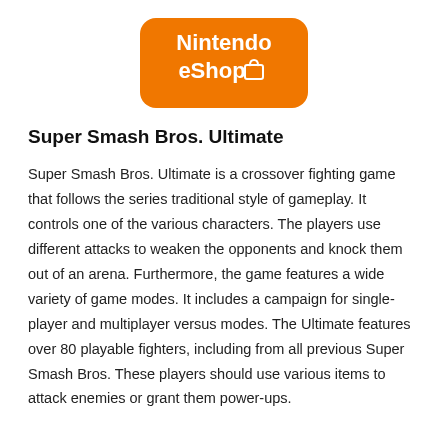[Figure (logo): Nintendo eShop logo — orange rounded rectangle with white bold text reading 'Nintendo eShop' and a shopping bag icon]
Super Smash Bros. Ultimate
Super Smash Bros. Ultimate is a crossover fighting game that follows the series traditional style of gameplay. It controls one of the various characters. The players use different attacks to weaken the opponents and knock them out of an arena. Furthermore, the game features a wide variety of game modes. It includes a campaign for single-player and multiplayer versus modes. The Ultimate features over 80 playable fighters, including from all previous Super Smash Bros. These players should use various items to attack enemies or grant them power-ups.